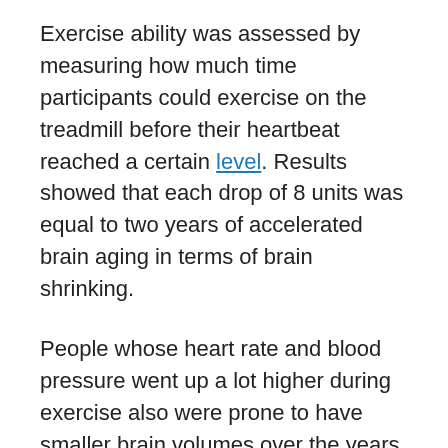Exercise ability was assessed by measuring how much time participants could exercise on the treadmill before their heartbeat reached a certain level. Results showed that each drop of 8 units was equal to two years of accelerated brain aging in terms of brain shrinking.
People whose heart rate and blood pressure went up a lot higher during exercise also were prone to have smaller brain volumes over the years. A poor physical state is often associated with higher blood pressure and more dramatic heart rate responses to exercise.
However, Dr. Spartano mentioned the study